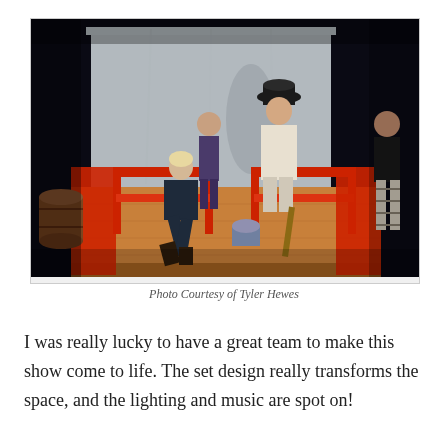[Figure (photo): A theater stage scene with actors in period costumes. The stage has red wooden set pieces including benches. A figure with a tricorn hat sits on a bench, a person kneels before them, another actor stands in the background, and a person in a black shirt stands on the right edge. A wooden barrel is visible on the left.]
Photo Courtesy of Tyler Hewes
I was really lucky to have a great team to make this show come to life. The set design really transforms the space, and the lighting and music are spot on!